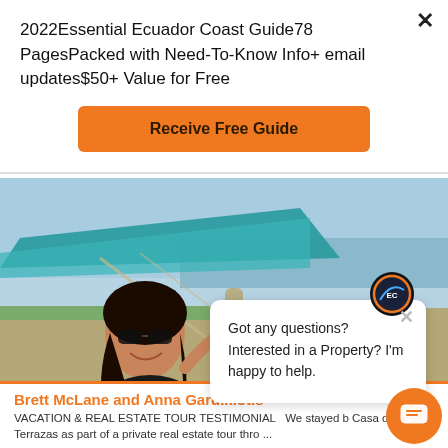2022Essential Ecuador Coast Guide78 PagesPacked with Need-To-Know Info+ email updates$50+ Value for Free
Receive Free Guide
[Figure (photo): Woman with sunglasses smiling on a hammock at the beach under a teal umbrella, ocean and green shoreline visible in background. Ecuador coast setting.]
Got any questions? Interested in a Property? I'm happy to help.
Brett McLane and Anna Gardikiotis
VACATION & REAL ESTATE TOUR TESTIMONIAL  We stayed b Casa de Terrazas as part of a private real estate tour thro ...